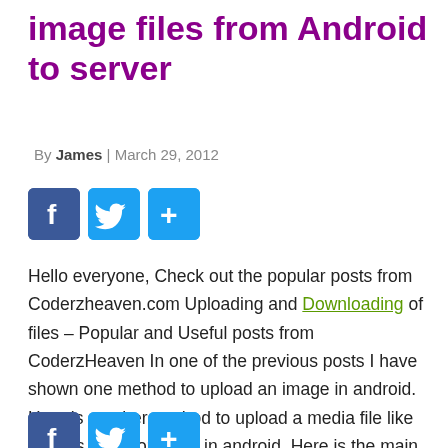image files from Android to server
By James | March 29, 2012
[Figure (other): Social sharing icons: Facebook, Twitter, Share buttons (top)]
Hello everyone, Check out the popular posts from Coderzheaven.com Uploading and Downloading of files – Popular and Useful posts from CoderzHeaven In one of the previous posts I have shown one method to upload an image in android. Here is another method to upload a media file like images,audio or video in android. Here is the main java… Read More »
[Figure (other): Social sharing icons: Facebook, Twitter, Share buttons (bottom)]